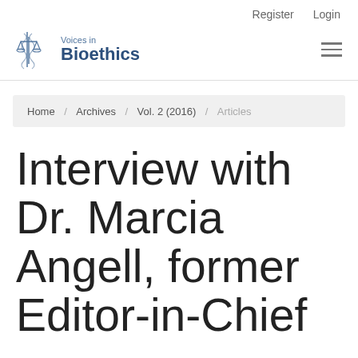Register  Login
[Figure (logo): Voices in Bioethics journal logo with scales of justice icon]
Home / Archives / Vol. 2 (2016) / Articles
Interview with Dr. Marcia Angell, former Editor-in-Chief